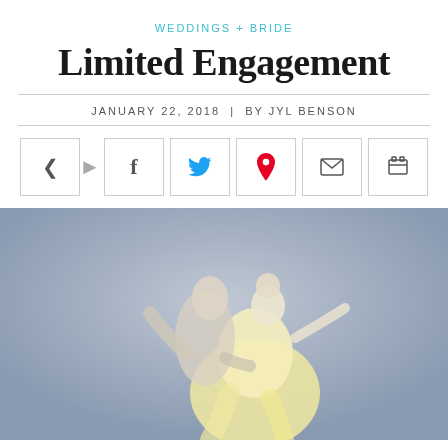WEDDINGS + BRIDE
Limited Engagement
JANUARY 22, 2018  |  BY JYL BENSON
[Figure (photo): Two ballet dancers, a man kissing a woman, dancing together against a light blue-grey background. The woman wears a yellow dress.]